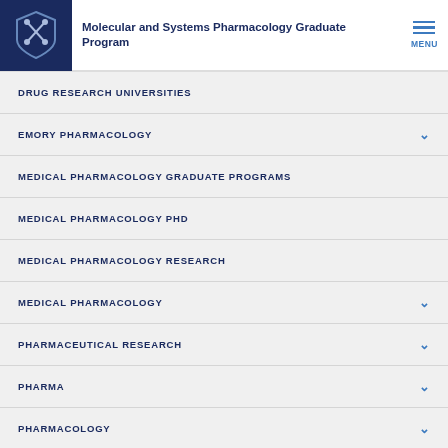Molecular and Systems Pharmacology Graduate Program
DRUG RESEARCH UNIVERSITIES
EMORY PHARMACOLOGY
MEDICAL PHARMACOLOGY GRADUATE PROGRAMS
MEDICAL PHARMACOLOGY PHD
MEDICAL PHARMACOLOGY RESEARCH
MEDICAL PHARMACOLOGY
PHARMACEUTICAL RESEARCH
PHARMA
PHARMACOLOGY
PHD PROGRAM
RESEARCH